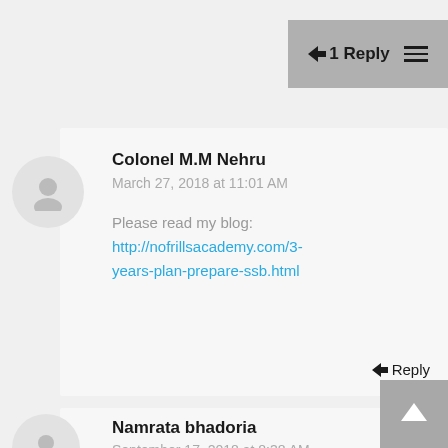1 Reply
Colonel M.M Nehru
March 27, 2018 at 11:01 AM

Please read my blog:
http://nofrillsacademy.com/3-years-plan-prepare-ssb.html
Reply
Namrata bhadoria
September 17, 2018 at 8:38 AM